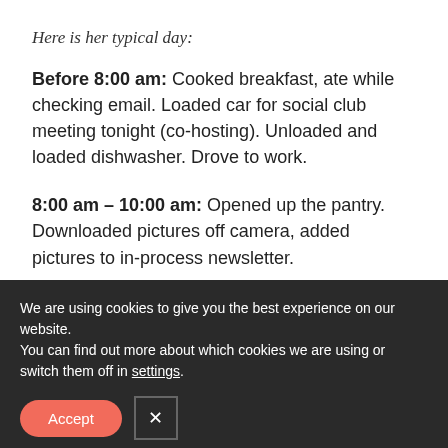Here is her typical day:
Before 8:00 am: Cooked breakfast, ate while checking email. Loaded car for social club meeting tonight (co-hosting). Unloaded and loaded dishwasher. Drove to work.
8:00 am – 10:00 am: Opened up the pantry. Downloaded pictures off camera, added pictures to in-process newsletter.
We are using cookies to give you the best experience on our website.
You can find out more about which cookies we are using or switch them off in settings.